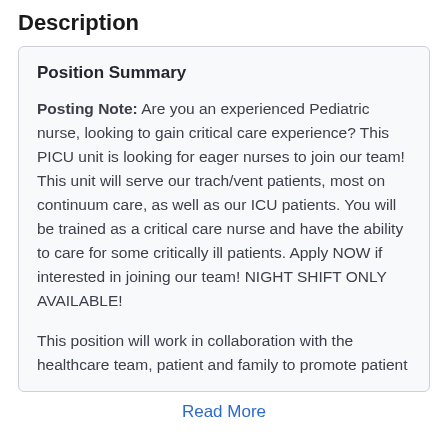Description
Position Summary
Posting Note: Are you an experienced Pediatric nurse, looking to gain critical care experience? This PICU unit is looking for eager nurses to join our team! This unit will serve our trach/vent patients, most on continuum care, as well as our ICU patients. You will be trained as a critical care nurse and have the ability to care for some critically ill patients. Apply NOW if interested in joining our team! NIGHT SHIFT ONLY AVAILABLE!
This position will work in collaboration with the healthcare team, patient and family to promote patient
Read More